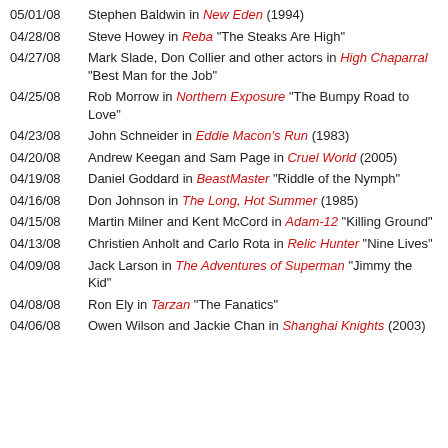05/01/08 Stephen Baldwin in New Eden (1994)
04/28/08 Steve Howey in Reba "The Steaks Are High"
04/27/08 Mark Slade, Don Collier and other actors in High Chaparral "Best Man for the Job"
04/25/08 Rob Morrow in Northern Exposure "The Bumpy Road to Love"
04/23/08 John Schneider in Eddie Macon's Run (1983)
04/20/08 Andrew Keegan and Sam Page in Cruel World (2005)
04/19/08 Daniel Goddard in BeastMaster "Riddle of the Nymph"
04/16/08 Don Johnson in The Long, Hot Summer (1985)
04/15/08 Martin Milner and Kent McCord in Adam-12 "Killing Ground"
04/13/08 Christien Anholt and Carlo Rota in Relic Hunter "Nine Lives"
04/09/08 Jack Larson in The Adventures of Superman "Jimmy the Kid"
04/08/08 Ron Ely in Tarzan "The Fanatics"
04/06/08 Owen Wilson and Jackie Chan in Shanghai Knights (2003)